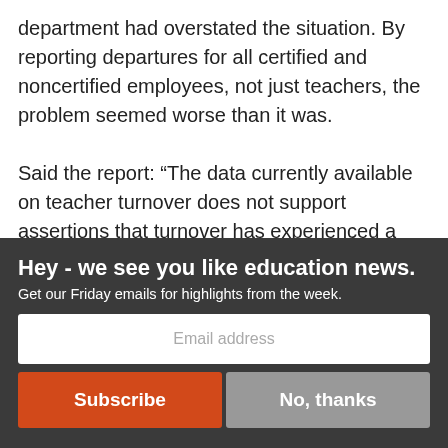department had overstated the situation. By reporting departures for all certified and noncertified employees, not just teachers, the problem seemed worse than it was.
Said the report: “The data currently available on teacher turnover does not support assertions that turnover has experienced a marked increase or change over the past three years. Therefore, we conclude that a mass teacher exodus has not occurred but that
Hey - we see you like education news.
Get our Friday emails for highlights from the week.
Email address
Subscribe
No, thanks